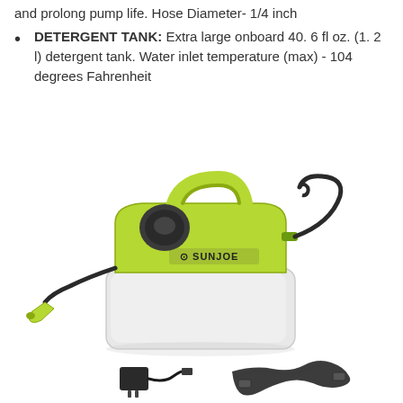and prolong pump life. Hose Diameter- 1/4 inch
DETERGENT TANK: Extra large onboard 40. 6 fl oz. (1. 2 l) detergent tank. Water inlet temperature (max) - 104 degrees Fahrenheit
[Figure (photo): Sun Joe battery-powered garden sprayer with green top housing, clear tank, black hose with green nozzle, along with a power adapter and shoulder strap accessories displayed below.]